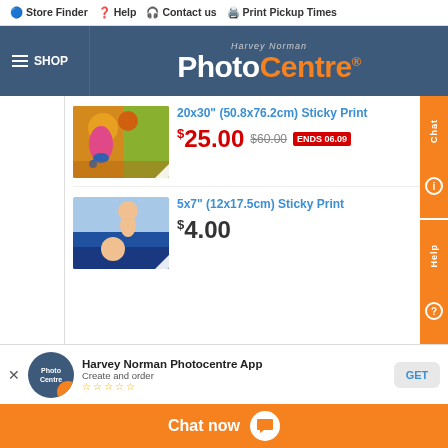Store Finder  Help  Contact us  Print Pickup Times
[Figure (logo): Harvey Norman PhotoCentre logo on dark blue background with SHOP menu]
20x30" (50.8x76.2cm) Sticky Print
$25.00  $60.00  ENDS 06.09
[Figure (photo): Child playing in autumn leaves]
5x7" (12x17.5cm) Sticky Print
$4.00
[Figure (photo): Parent holding baby up]
Harvey Norman Photocentre App - Create and order... - Chat now